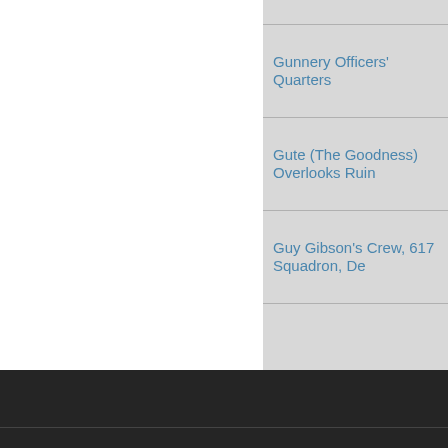Gunnery Officers' Quarters
Gute (The Goodness) Overlooks Ruin
Guy Gibson's Crew, 617 Squadron, De